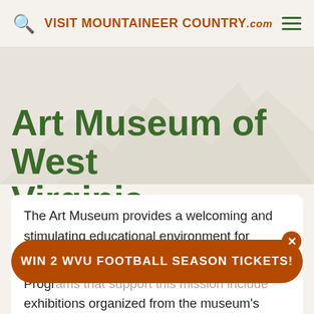VISIT MOUNTAINEER COUNTRY.com
Art Museum of West Virginia University
The Art Museum provides a welcoming and stimulating educational environment for diverse audiences to experience the transformative power of visual art. By exploring the varied artistic traditions of different cultures, past and present, visitors gain a better understanding of themselves t…
WIN 2 WVU FOOTBALL SEASON TICKETS!
Progr… exhibitions organized from the museum's